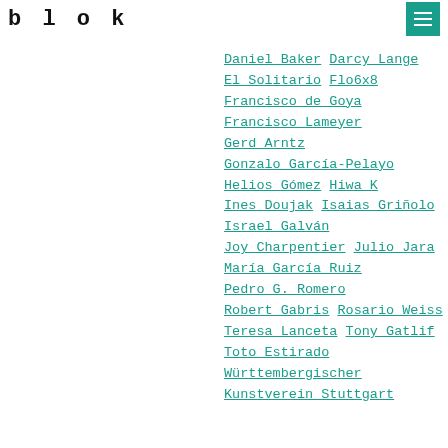blok
Daniel Baker  Darcy Lange
El Solitario  Flo6x8
Francisco de Goya
Francisco Lameyer
Gerd Arntz
Gonzalo García-Pelayo
Helios Gómez  Hiwa K
Ines Doujak  Isaias Griñolo
Israel Galván
Joy Charpentier  Julio Jara
María García Ruiz
Pedro G. Romero
Robert Gabris  Rosario Weiss
Teresa Lanceta  Tony Gatlif
Toto Estirado
Württembergischer Kunstverein Stuttgart